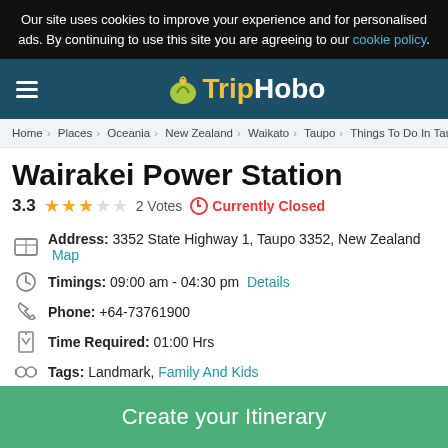Our site uses cookies to improve your experience and for personalised ads. By continuing to use this site you are agreeing to our cookie policy.
[Figure (logo): TripHobo logo with hamburger menu on dark teal navigation bar]
Home > Places > Oceania > New Zealand > Waikato > Taupo > Things To Do In Taupo
Wairakei Power Station
3.3 ★★★☆☆ 2 Votes ⊙ Currently Closed
Address: 3352 State Highway 1, Taupo 3352, New Zealand Map
Timings: 09:00 am - 04:30 pm Details
Phone: +64-73761900
Time Required: 01:00 Hrs
Tags: Landmark, Family And Kids
Create your Itinerary